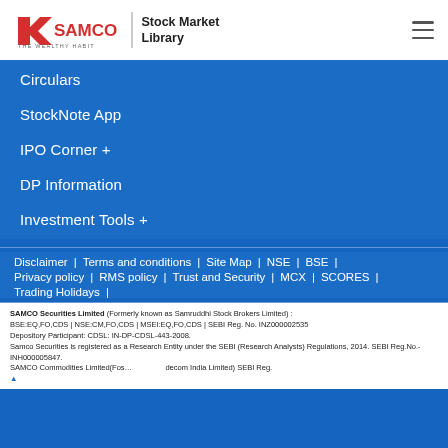SAMCO Stock Market Library
Circulars
StockNote App
IPO Corner +
DP Information
Investment Tools +
Disclaimer | Terms and conditions | Site Map | NSE | BSE | Privacy policy | RMS policy | Trust and Security | MCX | SCORES | Trading Holidays |
SAMCO Securities Limited (Formerly known as Samruddhi Stock Brokers Limited) : BSE:EQ,FO,CDS | NSE:CM,FO,CDS | MSEI:EQ,FO,CDS | SEBI Reg. No. INZ000002535 Depository Participant: CDSL: IN-DP-CDSL-443-2008. Samco Securities is registered as a Research Entity under the SEBI (Research Analysts) Regulations, 2014. SEBI Reg.No.- INH000005847. SAMCO Commodities Limited(Formerly known as Samruddhi Tradecom India Limited) SEBI Reg. No. INZ000013932